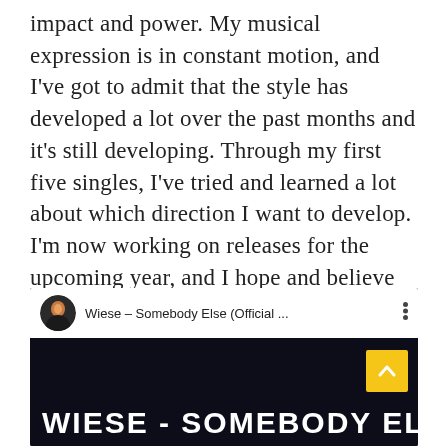impact and power. My musical expression is in constant motion, and I've got to admit that the style has developed a lot over the past months and it's still developing. Through my first five singles, I've tried and learned a lot about which direction I want to develop. I'm now working on releases for the upcoming year, and I hope and believe that one can expect that these will converge together in an expression I'm really passionate about.
[Figure (screenshot): YouTube video thumbnail showing 'Wiese – Somebody Else (Official ...' with a circular avatar of the artist on the left, three-dot menu on the right, and large white bold text 'WIESE - SOMEBODY ELSE' on a dark background. A yellow scroll-up button is visible in the lower right.]